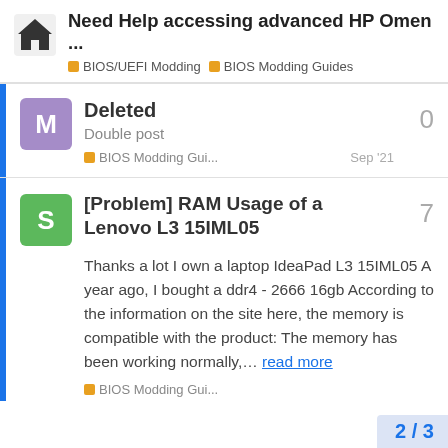Need Help accessing advanced HP Omen ... BIOS/UEFI Modding • BIOS Modding Guides
Deleted
Double post
BIOS Modding Gui...  Sep '21  0
[Problem] RAM Usage of a Lenovo L3 15IML05
Thanks a lot I own a laptop IdeaPad L3 15IML05 A year ago, I bought a ddr4 - 2666 16gb According to the information on the site here, the memory is compatible with the product: The memory has been working normally,… read more
BIOS Modding Gui...
2 / 3